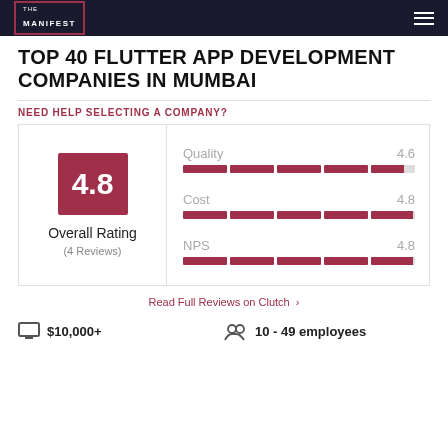THE MANIFEST
TOP 40 FLUTTER APP DEVELOPMENT COMPANIES IN MUMBAI
NEED HELP SELECTING A COMPANY?
[Figure (infographic): Rating card showing Overall Rating 4.8 (4 Reviews) with metric bars for Quality 4.6, Cost 4.8, and NPS 4.8]
Read Full Reviews on Clutch >
$10,000+  10 - 49 employees